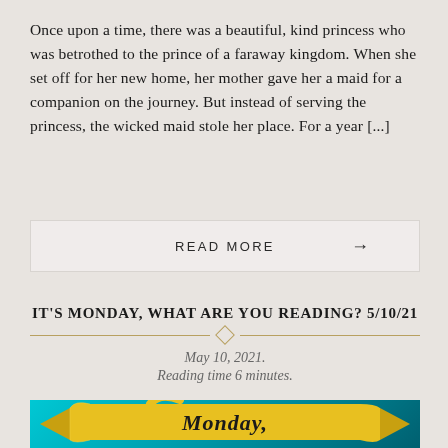Once upon a time, there was a beautiful, kind princess who was betrothed to the prince of a faraway kingdom. When she set off for her new home, her mother gave her a maid for a companion on the journey. But instead of serving the princess, the wicked maid stole her place. For a year [...]
READ MORE →
IT'S MONDAY, WHAT ARE YOU READING? 5/10/21
May 10, 2021.
Reading time 6 minutes.
[Figure (illustration): Teal/cyan gradient background with a yellow ribbon/scroll banner showing the word 'Monday' in black cursive script]